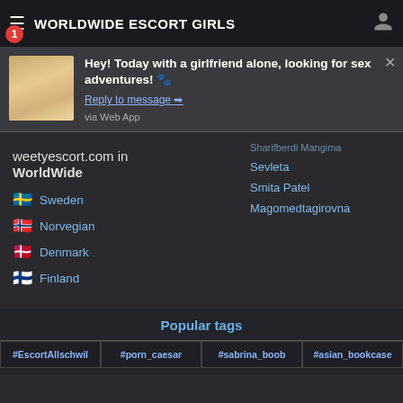WORLDWIDE ESCORT GIRLS
Hey! Today with a girlfriend alone, looking for sex adventures! 🐾
Reply to message →
via Web App
Sevleta
Smita Patel
Magomedtagirovna
weetyescort.com in WorldWide
🇸🇪 Sweden
🇳🇴 Norvegian
🇩🇰 Denmark
🇫🇮 Finland
Popular tags
#EscortAllschwil  #porn_caesar  #sabrina_boob  #asian_bookcase